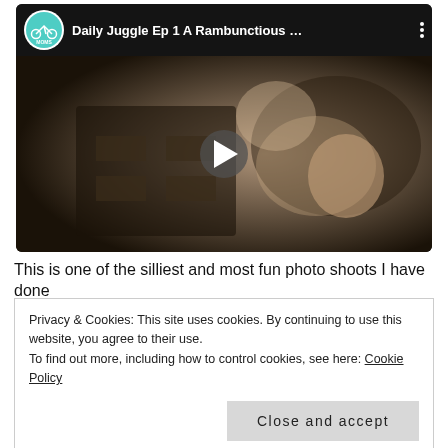[Figure (screenshot): Embedded YouTube-style video thumbnail showing 'Daily Juggle Ep 1 A Rambunctious ...' with a channel logo (Up and Away Moms with bicycle icon), a play button overlay, and a sepia-toned photo of a woman and children playing on a bed.]
This is one of the silliest and most fun photo shoots I have done
Privacy & Cookies: This site uses cookies. By continuing to use this website, you agree to their use.
To find out more, including how to control cookies, see here: Cookie Policy
[Close and accept]
Chaplin styled old movie and I am in love with the high speed